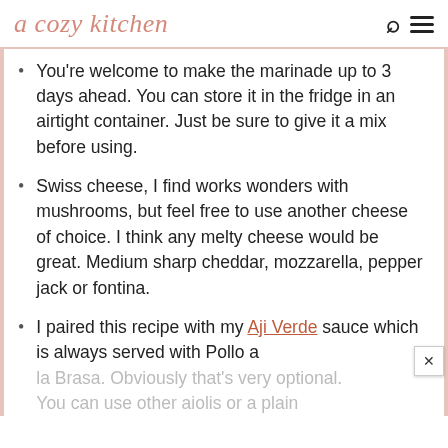a cozy kitchen
You're welcome to make the marinade up to 3 days ahead. You can store it in the fridge in an airtight container. Just be sure to give it a mix before using.
Swiss cheese, I find works wonders with mushrooms, but feel free to use another cheese of choice. I think any melty cheese would be great. Medium sharp cheddar, mozzarella, pepper jack or fontina.
I paired this recipe with my Aji Verde sauce which is always served with Pollo a la Brasa. Obviously that's very optional. You can use other aiolis or a plain